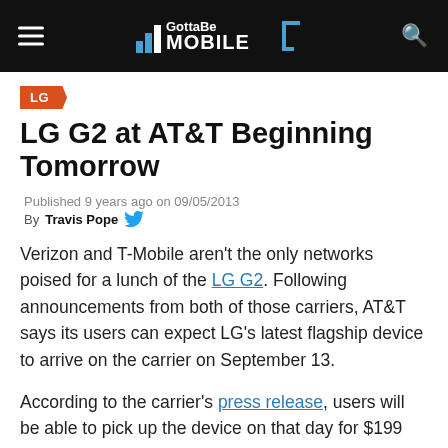GottaBeMobile
LG
LG G2 at AT&T Beginning Tomorrow
Published 9 years ago on 09/05/2013
By Travis Pope
Verizon and T-Mobile aren't the only networks poised for a lunch of the LG G2. Following announcements from both of those carriers, AT&T says its users can expect LG's latest flagship device to arrive on the carrier on September 13.
According to the carrier's press release, users will be able to pick up the device on that day for $199 with a two-year service agreement, or $27 per month, as a part of the